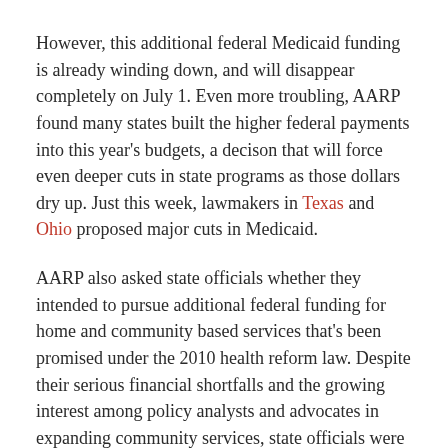However, this additional federal Medicaid funding is already winding down, and will disappear completely on July 1. Even more troubling, AARP found many states built the higher federal payments into this year's budgets, a decison that will force even deeper cuts in state programs as those dollars dry up. Just this week, lawmakers in Texas and Ohio proposed major cuts in Medicaid.
AARP also asked state officials whether they intended to pursue additional federal funding for home and community based services that's been promised under the 2010 health reform law. Despite their serious financial shortfalls and the growing interest among policy analysts and advocates in expanding community services, state officials were remarkably cautious about whether they'd embrace these initiatives.
ill...